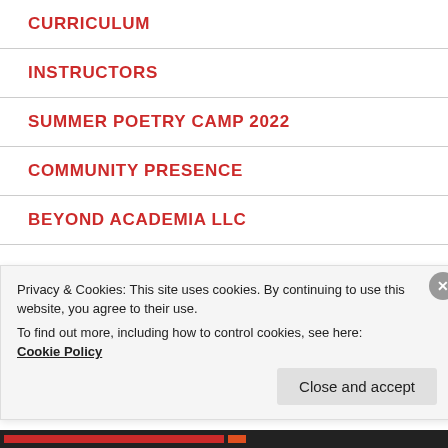CURRICULUM
INSTRUCTORS
SUMMER POETRY CAMP 2022
COMMUNITY PRESENCE
BEYOND ACADEMIA LLC
THE BLOG
Privacy & Cookies: This site uses cookies. By continuing to use this website, you agree to their use.
To find out more, including how to control cookies, see here:
Cookie Policy
Close and accept